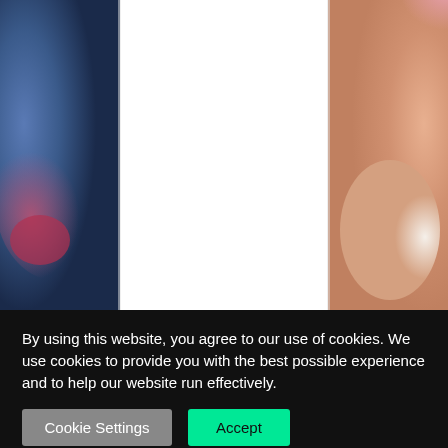[Figure (photo): Background photo showing blurred colorful abstract image with blue tones on the left, pink and warm orange/beige tones on the right, with a white rectangular area in the center. A cookie consent banner overlays the bottom portion.]
By using this website, you agree to our use of cookies. We use cookies to provide you with the best possible experience and to help our website run effectively.